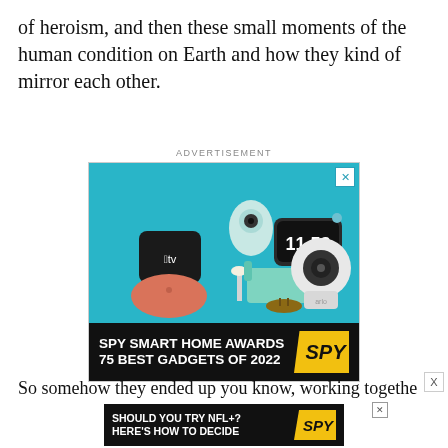of heroism, and then these small moments of the human condition on Earth and how they kind of mirror each other.
[Figure (screenshot): Advertisement banner showing smart home gadgets including Apple TV, Google Home speaker, a small projector, a sofa with accessories, a clock display showing 11:53, and a security camera, all against a teal background. Bottom of ad reads 'SPY SMART HOME AWARDS 75 BEST GADGETS OF 2022' with SPY logo.]
So somehow they ended up you know, working togethe
[Figure (screenshot): Small advertisement banner reading 'SHOULD YOU TRY NFL+? HERE'S HOW TO DECIDE' with SPY logo on black and yellow background.]